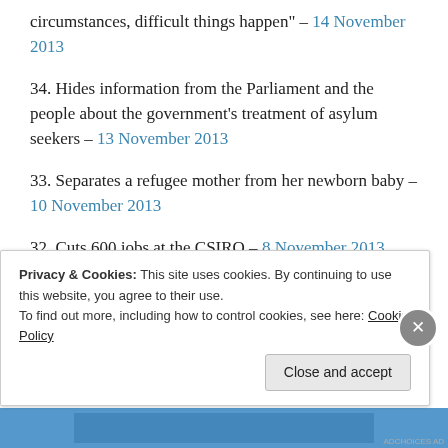circumstances, difficult things happen" – 14 November 2013
34. Hides information from the Parliament and the people about the government's treatment of asylum seekers – 13 November 2013
33. Separates a refugee mother from her newborn baby – 10 November 2013
32. Cuts 600 jobs at the CSIRO – 8 November 2013
Privacy & Cookies: This site uses cookies. By continuing to use this website, you agree to their use. To find out more, including how to control cookies, see here: Cookie Policy
Close and accept